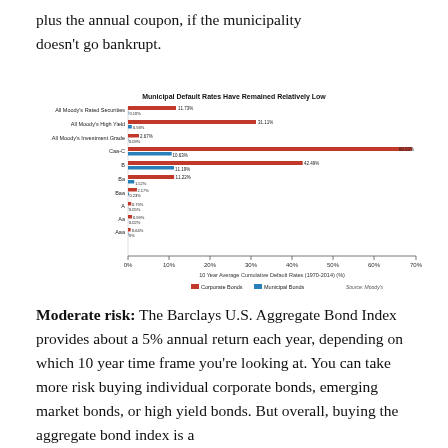plus the annual coupon, if the municipality doesn't go bankrupt.
[Figure (bar-chart): Municipal Default Rates Have Remained Relatively Low]
Moderate risk: The Barclays U.S. Aggregate Bond Index provides about a 5% annual return each year, depending on which 10 year time frame you're looking at. You can take more risk buying individual corporate bonds, emerging market bonds, or high yield bonds. But overall, buying the aggregate bond index is a